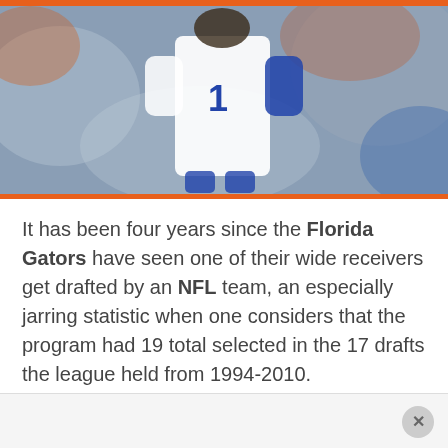[Figure (photo): A Florida Gators football player in a white jersey with the number 1, running or standing on a field, with blurred orange and blue crowd in the background.]
It has been four years since the Florida Gators have seen one of their wide receivers get drafted by an NFL team, an especially jarring statistic when one considers that the program had 19 total selected in the 17 drafts the league held from 1994-2010.